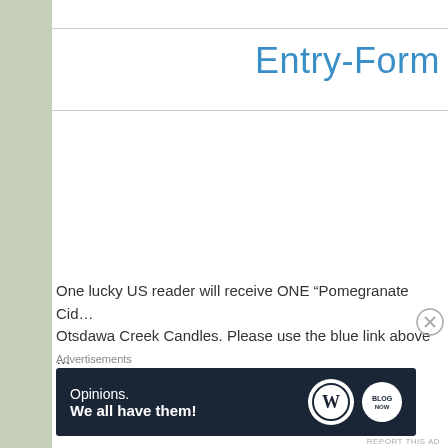Entry-Form
One lucky US reader will receive ONE “Pomegranate Cid… Otsdawa Creek Candles. Please use the blue link above … will run from October 5, 2018 – October 19, 2018.
Advertisements
[Figure (other): Advertisement banner with dark navy background showing 'Opinions. We all have them!' text with WordPress and blog logos]